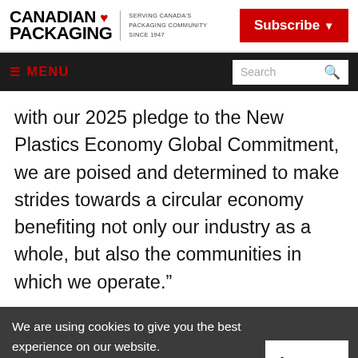[Figure (logo): Canadian Packaging logo with maple leaf, tagline: SERVING CANADA'S PACKAGING COMMUNITY SINCE 1947]
[Figure (infographic): Subscribe button (red) and navigation bar with MENU and Search field]
with our 2025 pledge to the New Plastics Economy Global Commitment, we are poised and determined to make strides towards a circular economy benefiting not only our industry as a whole, but also the communities in which we operate.”
We are using cookies to give you the best experience on our website.
By continuing to use the site, you agree to the use of cookies.
To find out more, read our privacy policy.